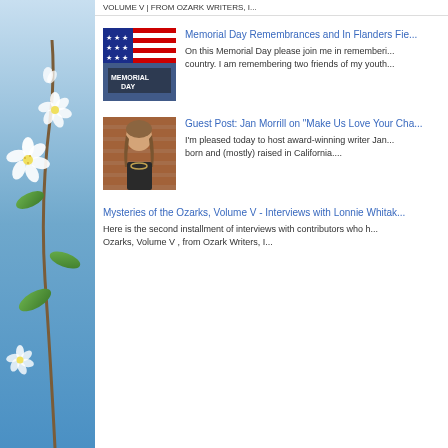VOLUME V | FROM OZARK WRITERS, I...
Memorial Day Remembrances and In Flanders Fie...
On this Memorial Day please join me in remembering... country. I am remembering two friends of my youth...
Guest Post: Jan Morrill on "Make Us Love Your Cha...
I'm pleased today to host award-winning writer Jan... born and (mostly) raised in California....
Mysteries of the Ozarks, Volume V - Interviews with Lonnie Whitak...
Here is the second installment of interviews with contributors who h... Ozarks, Volume V , from Ozark Writers, I...